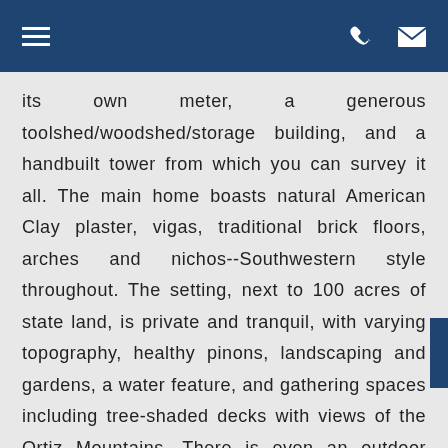its own meter, a generous toolshed/woodshed/storage building, and a handbuilt tower from which you can survey it all. The main home boasts natural American Clay plaster, vigas, traditional brick floors, arches and nichos--Southwestern style throughout. The setting, next to 100 acres of state land, is private and tranquil, with varying topography, healthy pinons, landscaping and gardens, a water feature, and gathering spaces including tree-shaded decks with views of the Ortiz Mountains. There is even an outdoor pizza oven! All this--only 20